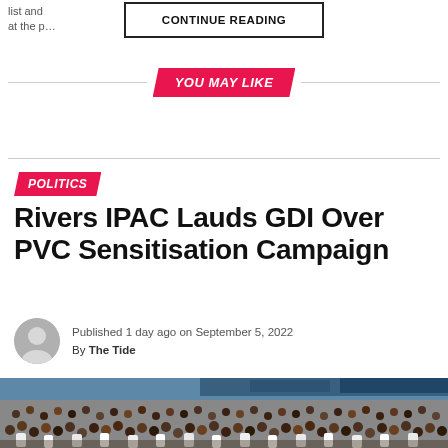list and … iates. at the p…
CONTINUE READING
YOU MAY LIKE
POLITICS
Rivers IPAC Lauds GDI Over PVC Sensitisation Campaign
Published 1 day ago on September 5, 2022
By The Tide
[Figure (photo): Large crowd of people gathered outdoors under tents at a political rally or public event]